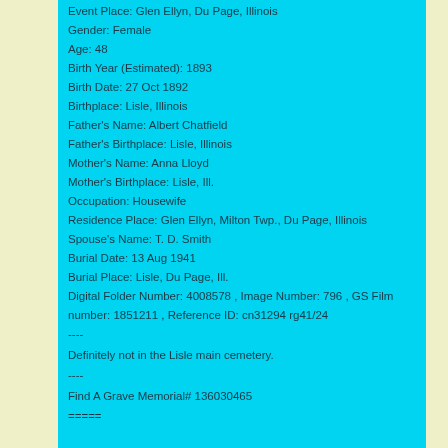Event Place: Glen Ellyn, Du Page, Illinois
Gender: Female
Age: 48
Birth Year (Estimated): 1893
Birth Date: 27 Oct 1892
Birthplace: Lisle, Illinois
Father's Name: Albert Chatfield
Father's Birthplace: Lisle, Illinois
Mother's Name: Anna Lloyd
Mother's Birthplace: Lisle, Ill.
Occupation: Housewife
Residence Place: Glen Ellyn, Milton Twp., Du Page, Illinois
Spouse's Name: T. D. Smith
Burial Date: 13 Aug 1941
Burial Place: Lisle, Du Page, Ill.
Digital Folder Number: 4008578 , Image Number: 796 , GS Film number: 1851211 , Reference ID: cn31294 rg41/24
----
Definitely not in the Lisle main cemetery.
----
Find A Grave Memorial# 136030465
=====